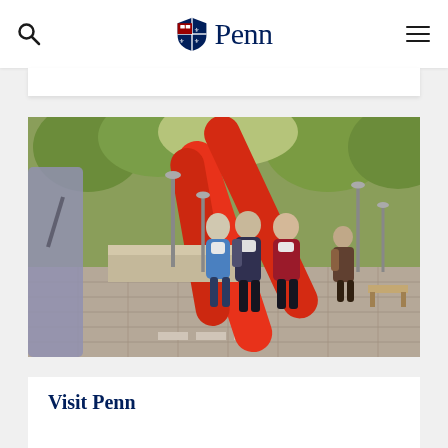Penn
[Figure (photo): University of Pennsylvania campus walkway scene with students wearing masks walking past a large red sculptural installation, surrounded by trees with autumn foliage.]
Visit Penn